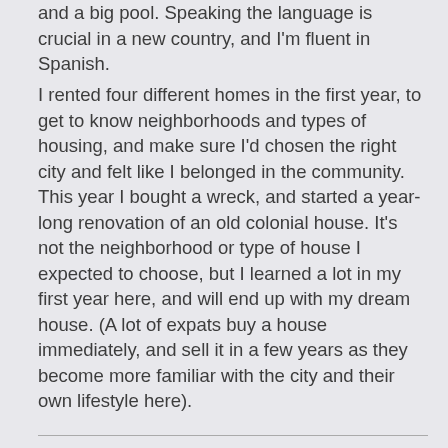and a big pool. Speaking the language is crucial in a new country, and I'm fluent in Spanish.
I rented four different homes in the first year, to get to know neighborhoods and types of housing, and make sure I'd chosen the right city and felt like I belonged in the community. This year I bought a wreck, and started a year-long renovation of an old colonial house. It's not the neighborhood or type of house I expected to choose, but I learned a lot in my first year here, and will end up with my dream house. (A lot of expats buy a house immediately, and sell it in a few years as they become more familiar with the city and their own lifestyle here).